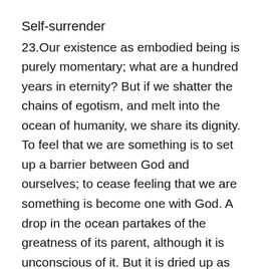Self-surrender
23.Our existence as embodied being is purely momentary; what are a hundred years in eternity? But if we shatter the chains of egotism, and melt into the ocean of humanity, we share its dignity. To feel that we are something is to set up a barrier between God and ourselves; to cease feeling that we are something is become one with God. A drop in the ocean partakes of the greatness of its parent, although it is unconscious of it. But it is dried up as soon as it enters upon an existence independent of the ocean. We do not exaggerate, when we say that life is a mere bubble. A life of service must be one of humility. He; who could sacrifice his life for others, has hardly time to reserve for himself a place in the